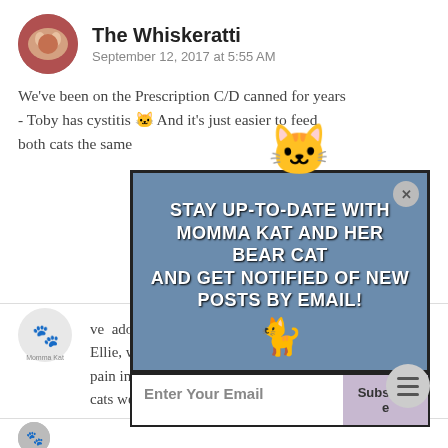The Whiskeratti
September 12, 2017 at 5:55 AM
We've been on the Prescription C/D canned for years - Toby has cystitis 🐱 And it's just easier to feed both cats the same
[Figure (infographic): Popup overlay: 'Stay up-to-date with Momma Kat and her Bear Cat and get notified of new posts by email!' with email input field and subscribe button, decorated with cartoon cat illustrations. Close button (X) in top right corner.]
ve adopted Ellie, we got a free bag of food and it pain in the behind to fill the two bow cats were always in the others' bowls!
[Figure (logo): Momma Kat and her Bear Cat logo avatar]